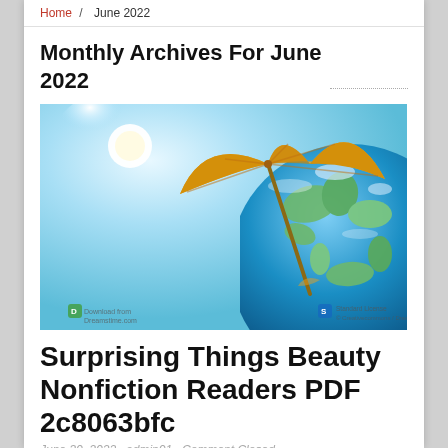Home / June 2022
Monthly Archives For June 2022
[Figure (photo): Stock photo of a golden beach umbrella propped on a globe of Earth against a bright blue sky background, with a Dreamstime.com watermark.]
Surprising Things Beauty Nonfiction Readers PDF 2c8063bfc
June 30, 2022 , admin01 , Comment Closed
Read Online and Download Ebook Surprising